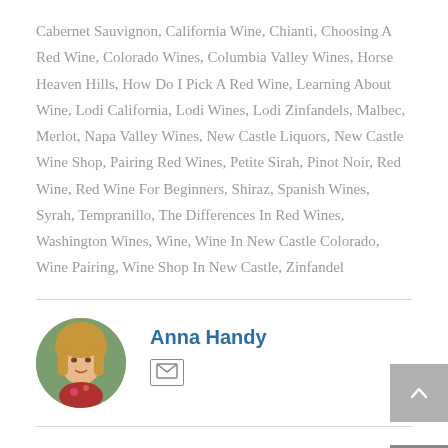Cabernet Sauvignon, California Wine, Chianti, Choosing A Red Wine, Colorado Wines, Columbia Valley Wines, Horse Heaven Hills, How Do I Pick A Red Wine, Learning About Wine, Lodi California, Lodi Wines, Lodi Zinfandels, Malbec, Merlot, Napa Valley Wines, New Castle Liquors, New Castle Wine Shop, Pairing Red Wines, Petite Sirah, Pinot Noir, Red Wine, Red Wine For Beginners, Shiraz, Spanish Wines, Syrah, Tempranillo, The Differences In Red Wines, Washington Wines, Wine, Wine In New Castle Colorado, Wine Pairing, Wine Shop In New Castle, Zinfandel
Anna Handy
[Figure (photo): Circular portrait photo of Anna Handy, a woman with blonde hair]
[Figure (illustration): Email envelope icon]
[Figure (illustration): Scroll-to-top button with upward chevron arrow, grey background]
RECOMMENDED POSTS
[Figure (illustration): Email envelope icon on grey square button at bottom right]